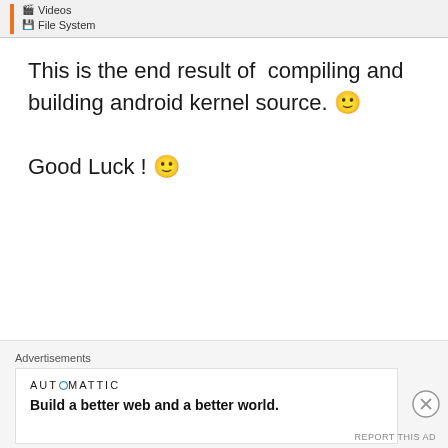[Figure (screenshot): File manager sidebar showing Videos and File System items with an orange vertical bar]
This is the end result of  compiling and building android kernel source. 🙂
Good Luck ! 🙂
[Figure (screenshot): Automattic advertisement banner showing the Automattic logo with a horizontal rule above it, and partial bold heading text below]
[Figure (screenshot): Bottom advertisement overlay: Advertisements label, Automattic logo, tagline 'Build a better web and a better world.', close button, REPORT THIS AD link]